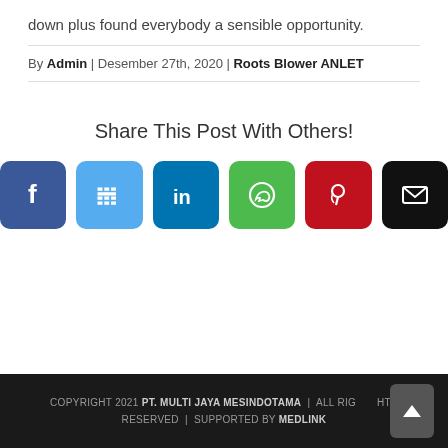down plus found everybody a sensible opportunity.
By Admin | Desember 27th, 2020 | Roots Blower ANLET
Share This Post With Others!
[Figure (infographic): Six social media share buttons: Facebook (blue), Twitter (light blue), LinkedIn (dark blue), WhatsApp (green), Pinterest (red), Email (black)]
COPYRIGHT 2021 PT. MULTI JAYA MESINDOTAMA | ALL RIGHTS RESERVED | SUPPORTED BY MEDLINK